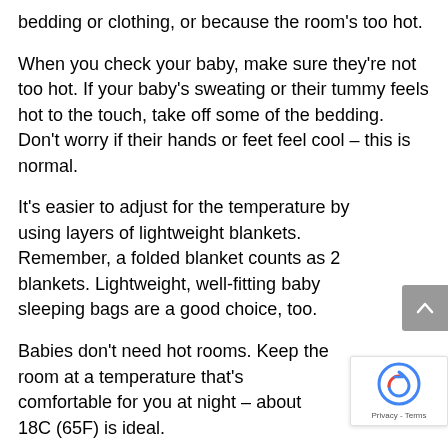bedding or clothing, or because the room's too hot.
When you check your baby, make sure they're not too hot. If your baby's sweating or their tummy feels hot to the touch, take off some of the bedding. Don't worry if their hands or feet feel cool – this is normal.
It's easier to adjust for the temperature by using layers of lightweight blankets. Remember, a folded blanket counts as 2 blankets. Lightweight, well-fitting baby sleeping bags are a good choice, too.
Babies don't need hot rooms. Keep the room at a temperature that's comfortable for you at night – about 18C (65F) is ideal.
Don't let your baby's head become covered